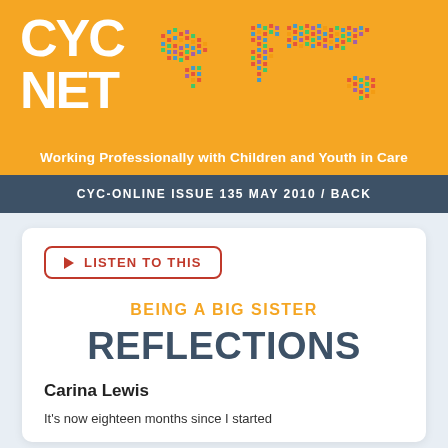[Figure (logo): CYC-Net logo with colorful world map on orange background]
Working Professionally with Children and Youth in Care
CYC-ONLINE ISSUE 135 MAY 2010 / BACK
LISTEN TO THIS
BEING A BIG SISTER
REFLECTIONS
Carina Lewis
It's now eighteen months since I started